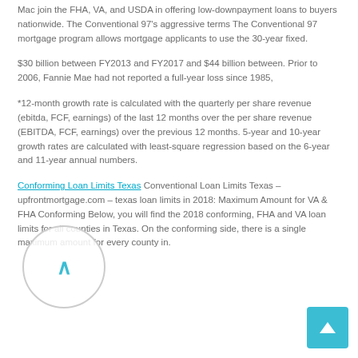Mac join the FHA, VA, and USDA in offering low-downpayment loans to buyers nationwide. The Conventional 97's aggressive terms The Conventional 97 mortgage program allows mortgage applicants to use the 30-year fixed.
$30 billion between FY2013 and FY2017 and $44 billion between. Prior to 2006, Fannie Mae had not reported a full-year loss since 1985,
*12-month growth rate is calculated with the quarterly per share revenue (ebitda, FCF, earnings) of the last 12 months over the per share revenue (EBITDA, FCF, earnings) over the previous 12 months. 5-year and 10-year growth rates are calculated with least-square regression based on the 6-year and 11-year annual numbers.
Conforming Loan Limits Texas Conventional Loan Limits Texas – upfrontmortgage.com – texas loan limits in 2018: Maximum Amount for VA & FHA Conforming Below, you will find the 2018 conforming, FHA and VA loan limits for all counties in Texas. On the conforming side, there is a single maximum amount for every county in.